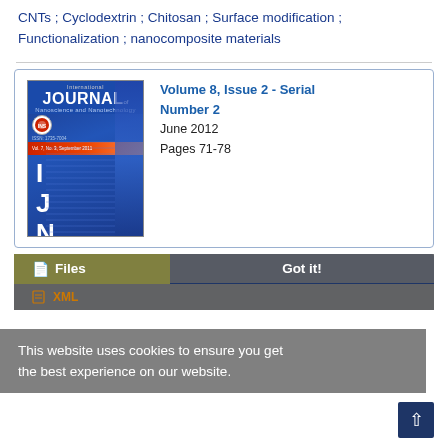CNTs ; Cyclodextrin ; Chitosan ; Surface modification ; Functionalization ; nanocomposite materials
[Figure (photo): Journal cover of International Journal of Nanoscience and Nanotechnology (IJNN), Volume 8 Issue 2, blue cover with large letters I J N N]
Volume 8, Issue 2 - Serial Number 2
June 2012
Pages 71-78
This website uses cookies to ensure you get the best experience on our website.
Files
Got it!
XML